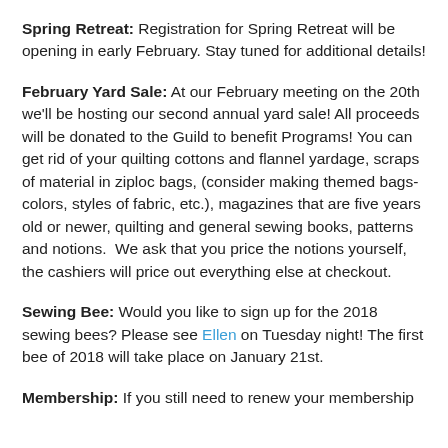Spring Retreat: Registration for Spring Retreat will be opening in early February. Stay tuned for additional details!
February Yard Sale: At our February meeting on the 20th we'll be hosting our second annual yard sale! All proceeds will be donated to the Guild to benefit Programs! You can get rid of your quilting cottons and flannel yardage, scraps of material in ziploc bags, (consider making themed bags-colors, styles of fabric, etc.), magazines that are five years old or newer, quilting and general sewing books, patterns and notions.  We ask that you price the notions yourself, the cashiers will price out everything else at checkout.
Sewing Bee: Would you like to sign up for the 2018 sewing bees? Please see Ellen on Tuesday night! The first bee of 2018 will take place on January 21st.
Membership: If you still need to renew your membership